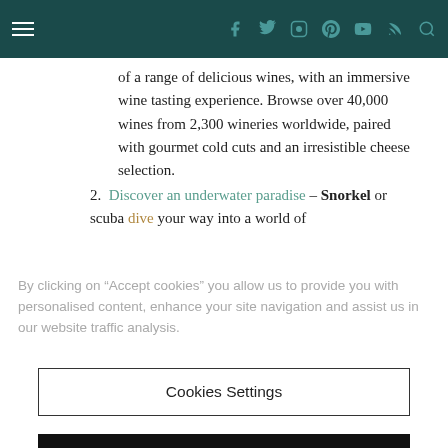Navigation bar with hamburger menu and social icons (Facebook, Twitter, Instagram, Pinterest, YouTube, RSS, Search)
of a range of delicious wines, with an immersive wine tasting experience. Browse over 40,000 wines from 2,300 wineries worldwide, paired with gourmet cold cuts and an irresistible cheese selection.
2. Discover an underwater paradise – Snorkel or scuba dive your way into a world of
By clicking on “Accept cookies” you allow us to provide you with personalised content, enhance your site navigation and assist us in our website traffic analysis.
Cookies Settings
Accept Cookies